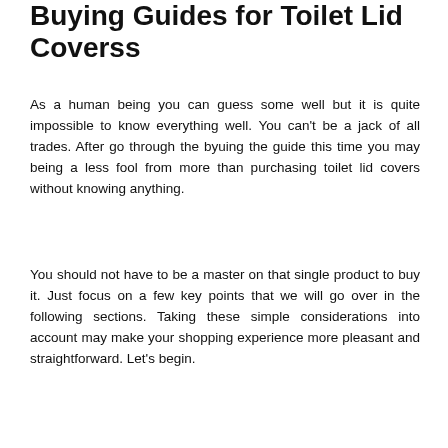Buying Guides for Toilet Lid Coverss
As a human being you can guess some well but it is quite impossible to know everything well. You can't be a jack of all trades. After go through the byuing the guide this time you may being a less fool from more than purchasing toilet lid covers without knowing anything.
You should not have to be a master on that single product to buy it. Just focus on a few key points that we will go over in the following sections. Taking these simple considerations into account may make your shopping experience more pleasant and straightforward. Let's begin.